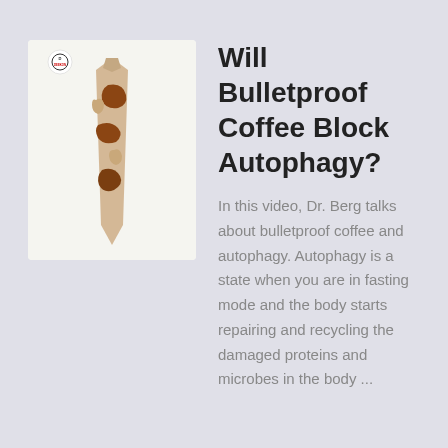[Figure (photo): Product image showing a camouflage-patterned necktie in desert colors (tan, brown) with a small circular logo at top left reading 'DEEKON' in red text]
Will Bulletproof Coffee Block Autophagy?
In this video, Dr. Berg talks about bulletproof coffee and autophagy. Autophagy is a state when you are in fasting mode and the body starts repairing and recycling the damaged proteins and microbes in the body ...